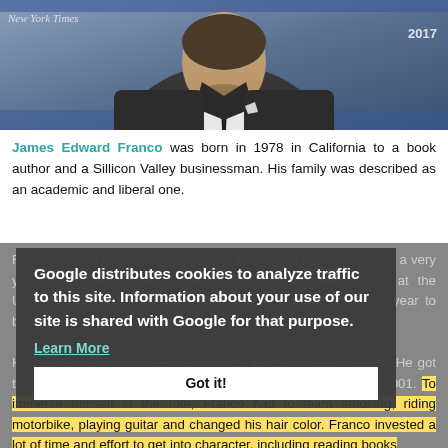[Figure (photo): Photo of James Franco in a dark suit with a black tie, standing in front of a backdrop with New York Times and award show logos]
James Edward Franco was born in 1978 in California to a book author and a Sillicon Valley businessman. His family was described as an academic and liberal one.
Franco had an intention of becoming a zoologist when he was at a very young age. He started following acting career. He studied at the University of California, studied English but he quit after one year to become an actor.
Google distributes cookies to analyze traffic to this site. Information about your use of our site is shared with Google for that purpose. Learn More Got it!
He took a training course of 15 months to cast in Los Angeles. He got the leading role of a biographical film about James Dean in 2001. To immerse himself in the role, Franco had to learn smoking, riding motorbike, playing guitar and changed his hair color. Franco invested a lot of time and effort to get into character, including reading books